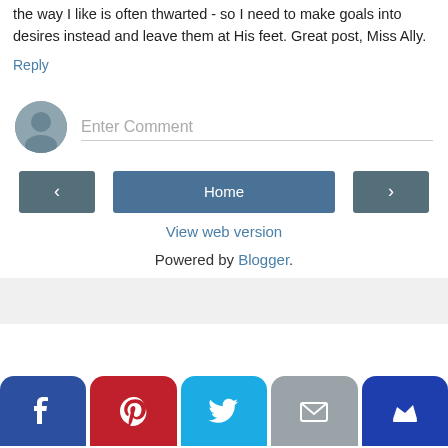the way I like is often thwarted - so I need to make goals into desires instead and leave them at His feet. Great post, Miss Ally.
Reply
[Figure (other): Enter Comment input field with user avatar icon]
[Figure (other): Navigation buttons: left arrow, Home, right arrow]
View web version
Powered by Blogger.
[Figure (other): Social media share bar with Facebook, Pinterest, Twitter, Email, and crown/bookmark buttons]